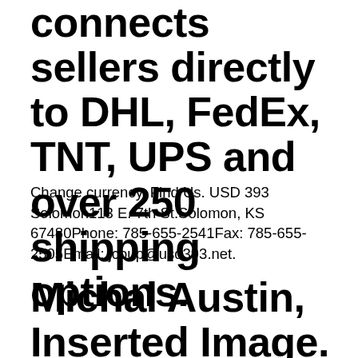connects sellers directly to DHL, FedEx, TNT, UPS and over 250 shipping options.
Change currency. Find Us. USD 393 Solomon113 E. 7th St.Solomon, KS 67480Phone: 785-655-2541Fax: 785-655-2505Email: jcoup@usd393.net.
Michal Austin, Inserted Image. I have been teaching art at Flinthills for 27 years. I enjoy technology, cake decorating, and quilting. My favorite artists